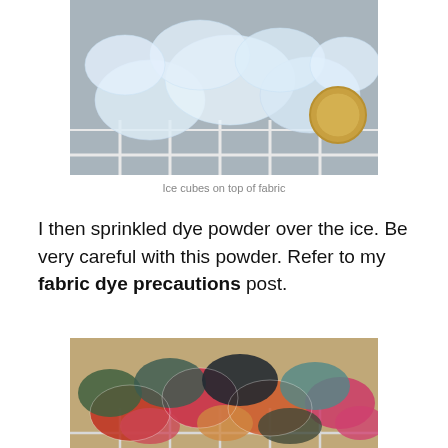[Figure (photo): Ice cubes piled on top of fabric in a wire rack container, viewed from above. The ice cubes are clear/white and the container appears to be a metal wire rack.]
Ice cubes on top of fabric
I then sprinkled dye powder over the ice. Be very careful with this powder. Refer to my fabric dye precautions post.
[Figure (photo): Colorful dye-covered ice cubes on a wire rack. The ice cubes are stained with multiple colors including red, pink, orange, green, dark blue/black, and teal, showing the dye powder applied over them.]